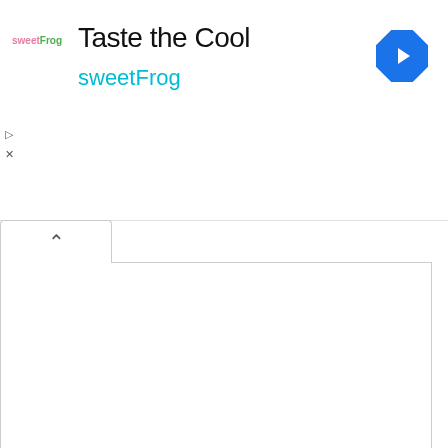[Figure (logo): sweetFrog logo with colorful text]
Taste the Cool
sweetFrog
[Figure (other): Blue diamond navigation arrow icon]
^
▷
×
ββββββ-ββββββββββ βββββ βββββββββ βββ:
×